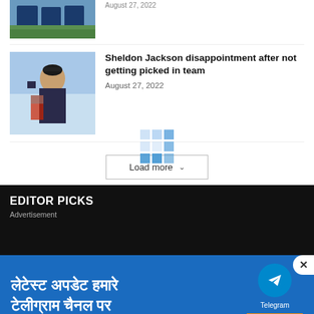[Figure (photo): Cricket players photo thumbnail (partially visible at top)]
[Figure (photo): Sheldon Jackson cricketer sitting with gear, holding bat]
Sheldon Jackson disappointment after not getting picked in team
August 27, 2022
[Figure (other): Loading spinner grid (blue squares)]
Load more
EDITOR PICKS
Advertisement
[Figure (infographic): Telegram channel advertisement in Hindi: लेटेस्ट अपडेट हमारे टेलीग्राम चैनल पर — with Telegram logo and JOIN NOW button]